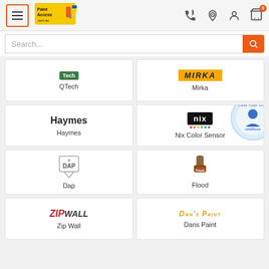PaintAccess.com.au — navigation header with menu, logo, phone, location, account, cart icons
Search...
[Figure (logo): QTech brand logo — green badge with white text 'Tech' above label 'QTech']
[Figure (logo): Mirka brand logo — bold italic yellow/orange text on yellow background]
[Figure (logo): Haymes brand — large bold black text 'Haymes']
[Figure (logo): Nix Color Sensor logo — black rectangle with 'nix' text and colored dots]
[Figure (logo): Dap brand logo — illustrated tag/badge style logo]
[Figure (logo): Flood brand logo — brown paint applicator icon with 'Flood' badge]
[Figure (logo): ZipWall brand logo — red/black italic bold text]
[Figure (logo): Dan's Paint brand logo — italic gold/orange text 'Dan's Paint']